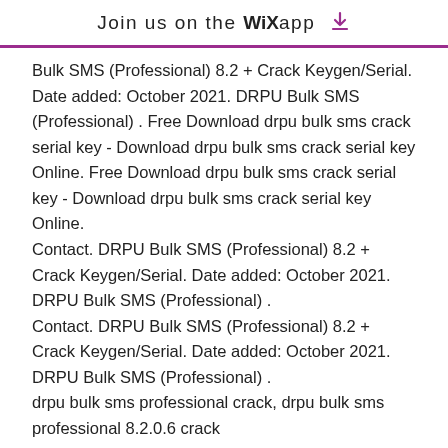Join us on the WiX app ⬇
Bulk SMS (Professional) 8.2 + Crack Keygen/Serial. Date added: October 2021. DRPU Bulk SMS (Professional) . Free Download drpu bulk sms crack serial key - Download drpu bulk sms crack serial key Online. Free Download drpu bulk sms crack serial key - Download drpu bulk sms crack serial key Online. Contact. DRPU Bulk SMS (Professional) 8.2 + Crack Keygen/Serial. Date added: October 2021. DRPU Bulk SMS (Professional) . Contact. DRPU Bulk SMS (Professional) 8.2 + Crack Keygen/Serial. Date added: October 2021. DRPU Bulk SMS (Professional) . drpu bulk sms professional crack, drpu bulk sms professional 8.2.0.6 crack